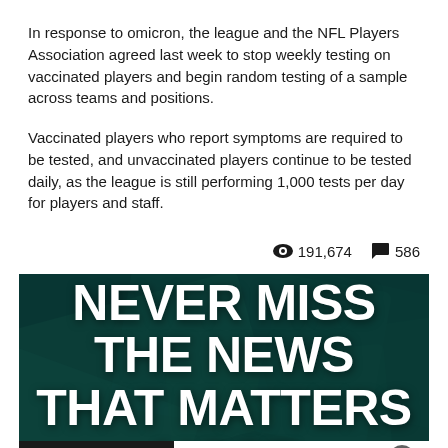In response to omicron, the league and the NFL Players Association agreed last week to stop weekly testing on vaccinated players and begin random testing of a sample across teams and positions.
Vaccinated players who report symptoms are required to be tested, and unvaccinated players continue to be tested daily, as the league is still performing 1,000 tests per day for players and staff.
👁 191,674   💬 586
[Figure (infographic): Promotional banner with dark teal background showing money/dollar bills texture. Large bold white text reads 'NEVER MISS THE NEWS THAT MATTERS MOST'. A close button (x) is visible at bottom right. Below is a dark bar with 'ZER' text visible and a white panel to the right.]